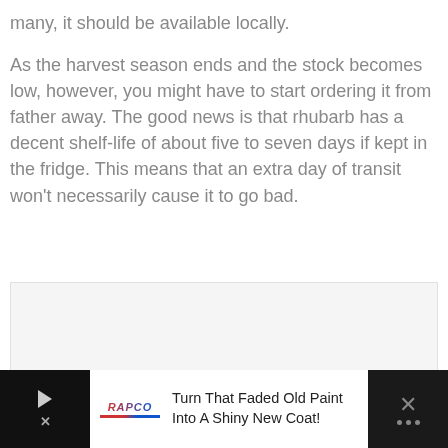many, it should be available locally.

As the harvest season ends and the stock becomes low, however, you might have to start ordering it from father away. The good news is that rhubarb has a decent shelf-life of about five to seven days if kept in the fridge. This means that an extra day of transit won't necessarily cause it to go bad.
[Figure (photo): Placeholder image area (gray/white box)]
Turn That Faded Old Paint Into A Shiny New Coat! [Advertisement banner]